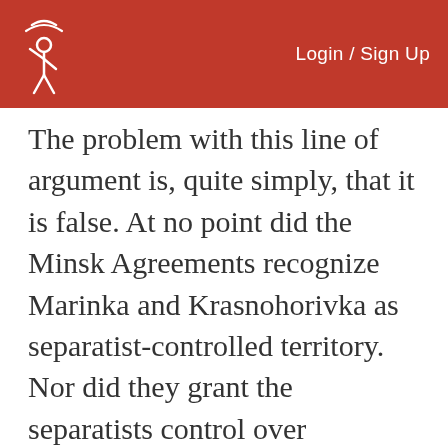Login / Sign Up
The problem with this line of argument is, quite simply, that it is false. At no point did the Minsk Agreements recognize Marinka and Krasnohorivka as separatist-controlled territory. Nor did they grant the separatists control over Debaltseve or other areas combined Russian-separatist forces have seized, or tried to seize. Yet for Russia and the